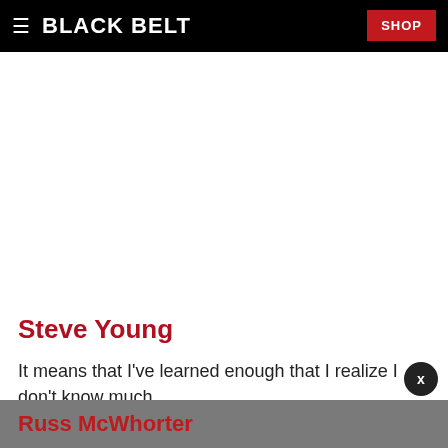BLACK BELT  SHOP
Steve Young
It means that I've learned enough that I realize I don't know much...
Russ McWhorter